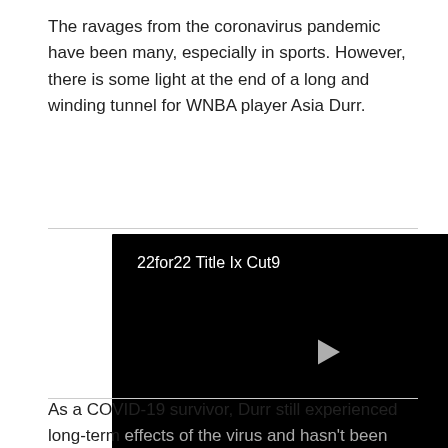The ravages from the coronavirus pandemic have been many, especially in sports. However, there is some light at the end of a long and winding tunnel for WNBA player Asia Durr.
[Figure (screenshot): Video player with black background showing title '22for22 Title Ix Cut9' and a play button in the center]
As a COVID-19 survivor, Durr still experienced long-term effects of the virus and hasn't been able to play for two full seasons.